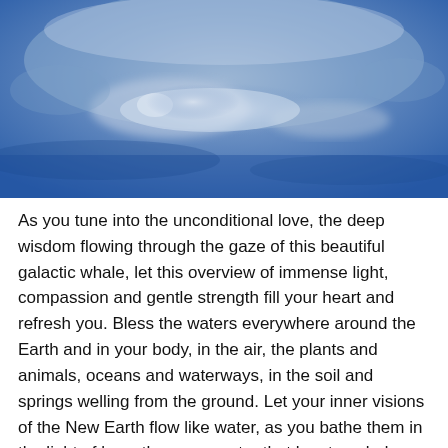[Figure (photo): A photograph of a blue watercolor or atmospheric scene suggesting a whale shape amid blue and white tones, representing a galactic whale]
As you tune into the unconditional love, the deep wisdom flowing through the gaze of this beautiful galactic whale, let this overview of immense light, compassion and gentle strength fill your heart and refresh you. Bless the waters everywhere around the Earth and in your body, in the air, the plants and animals, oceans and waterways, in the soil and springs welling from the ground. Let your inner visions of the New Earth flow like water, as you bathe them in the light of love, the same water that has traveled through